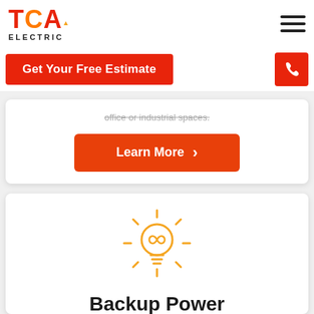TCA ELECTRIC
Get Your Free Estimate
office or industrial spaces.
Learn More
[Figure (illustration): Yellow lightbulb icon with infinity symbol inside and radiating lines]
Backup Power
A power outage can pose dangerous